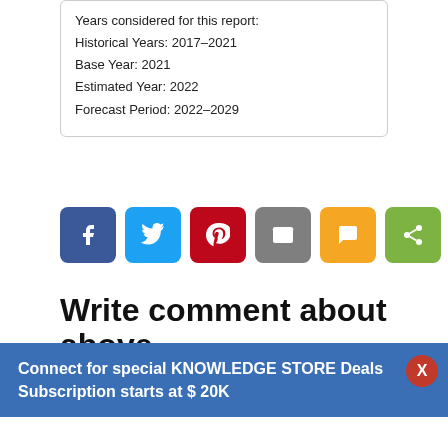Years considered for this report:
Historical Years: 2017-2021
Base Year: 2021
Estimated Year: 2022
Forecast Period: 2022-2029
[Figure (infographic): Row of six social share buttons: Facebook (dark blue), Twitter (light blue), Pinterest (red), Email (gray), SMS (yellow/orange), Share (green)]
Write comment about above
Connect for special KNOWLEDGE STORE Deals
Subscription starts at $ 20K